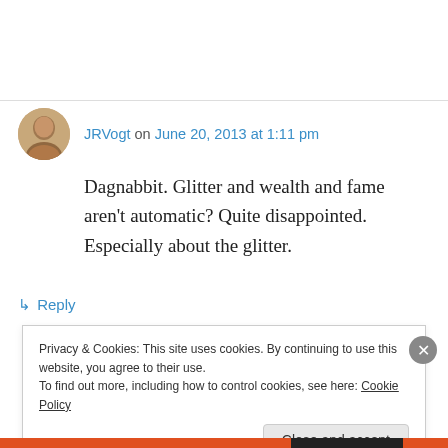JRVogt on June 20, 2013 at 1:11 pm
Dagnabbit. Glitter and wealth and fame aren't automatic? Quite disappointed. Especially about the glitter.
↳ Reply
Privacy & Cookies: This site uses cookies. By continuing to use this website, you agree to their use.
To find out more, including how to control cookies, see here: Cookie Policy
Close and accept